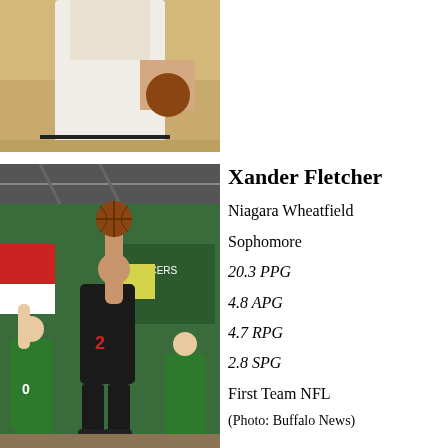[Figure (photo): Partial photo of a basketball player at the top of the page, cropped]
[Figure (photo): Xander Fletcher, Niagara Wheatfield basketball player wearing black jersey number 2, going up for a layup in a gymnasium with green walls]
Xander Fletcher
Niagara Wheatfield
Sophomore
20.3 PPG
4.8 APG
4.7 RPG
2.8 SPG
First Team NFL
(Photo: Buffalo News)